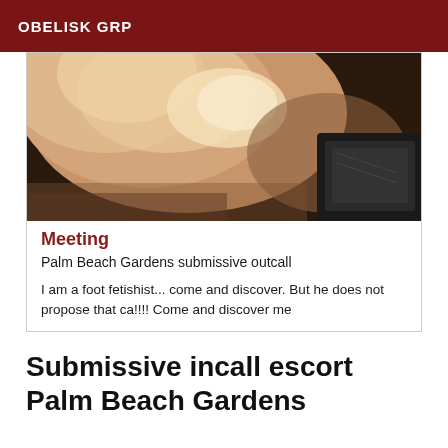OBELISK GRP
[Figure (photo): Close-up photo showing skin/body part with dark object in background]
Meeting
Palm Beach Gardens submissive outcall
I am a foot fetishist... come and discover. But he does not propose that ca!!!! Come and discover me
Submissive incall escort Palm Beach Gardens